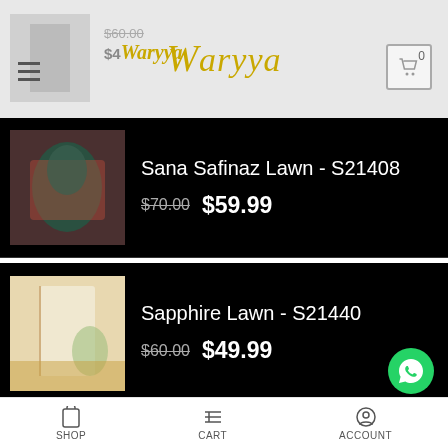Waryya — navigation header with logo, hamburger menu, and cart (0)
[Figure (screenshot): Product listing: Sana Safinaz Lawn - S21408, original price $70.00, sale price $59.99]
[Figure (screenshot): Product listing: Sapphire Lawn - S21440, original price $60.00, sale price $49.99]
ABOUT US
Waryya is Pakistan's largest fabric crafts – FabRafts – marketplace. We've been helping artists sell fabric, home decor, jewelry, apparel, and other products.
SHOP   CART   ACCOUNT